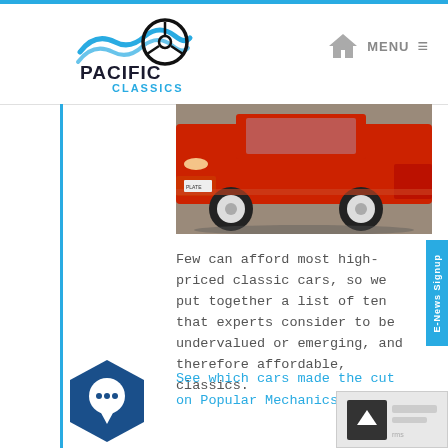[Figure (logo): Pacific Classics logo with steering wheel and wave graphic, bold text PACIFIC CLASSICS]
[Figure (other): Navigation bar with home icon, MENU text and hamburger icon]
[Figure (photo): Red classic Corvette car, low angle shot showing front and side, white wall tires, indoor showroom]
Few can afford most high-priced classic cars, so we put together a list of ten that experts consider to be undervalued or emerging, and therefore affordable, classics.
[Figure (illustration): Dark blue hexagon shape with white chat bubble icon inside]
See which cars made the cut on Popular Mechanics